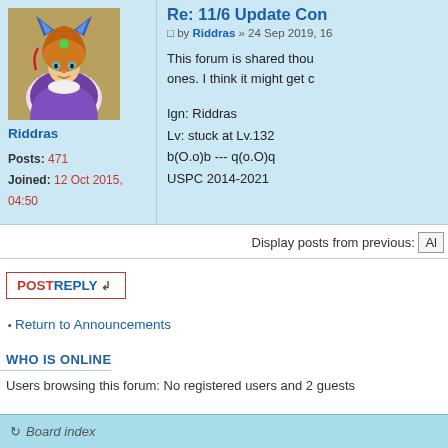[Figure (photo): Avatar image of user Riddras showing a fantasy character with orange hair, blue fox ears, and purple outfit]
Riddras
Posts: 471
Joined: 12 Oct 2015, 04:50
Re: 11/6 Update Con...
by Riddras » 24 Sep 2019, 16...
This forum is shared thou... ones. I think it might get c...
Ign: Riddras
Lv: stuck at Lv.132
b(O.o)b --- q(o.O)q
USPC 2014-2021
Display posts from previous: All
POST REPLY
Return to Announcements
WHO IS ONLINE
Users browsing this forum: No registered users and 2 guests
Board index